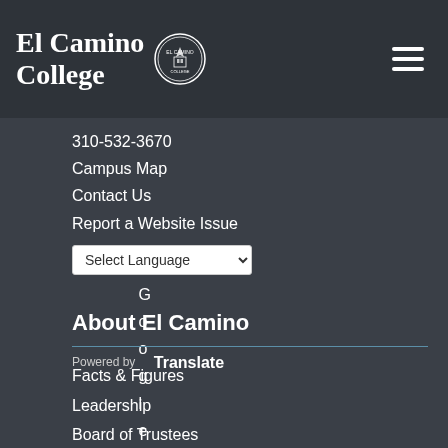[Figure (logo): El Camino College logo with text and circular seal]
310-532-3670
Campus Map
Contact Us
Report a Website Issue
Select Language (dropdown)
Powered by Google Translate
About El Camino
Facts & Figures
Leadership
Board of Trustees